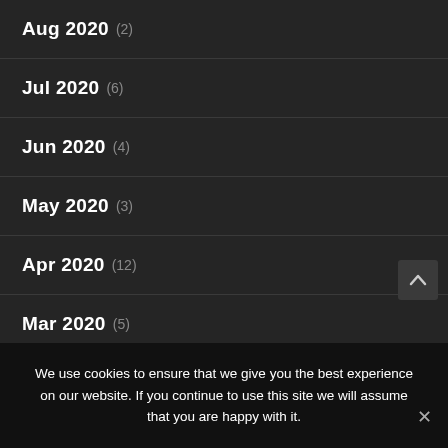Aug 2020 (2)
Jul 2020 (6)
Jun 2020 (4)
May 2020 (3)
Apr 2020 (12)
Mar 2020 (5)
Feb 2020
We use cookies to ensure that we give you the best experience on our website. If you continue to use this site we will assume that you are happy with it.